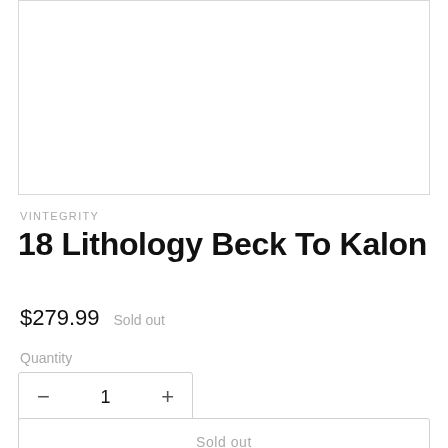[Figure (photo): Product image area, empty/white]
VINTEGRITY
18 Lithology Beck To Kalon
$279.99   Sold out
Quantity
− 1 +
Sold out